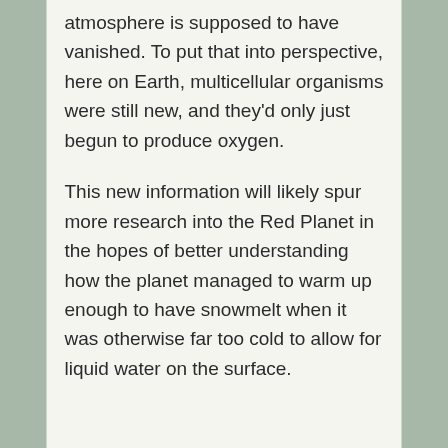atmosphere is supposed to have vanished. To put that into perspective, here on Earth, multicellular organisms were still new, and they'd only just begun to produce oxygen.
This new information will likely spur more research into the Red Planet in the hopes of better understanding how the planet managed to warm up enough to have snowmelt when it was otherwise far too cold to allow for liquid water on the surface.
Support Our Sponsors!